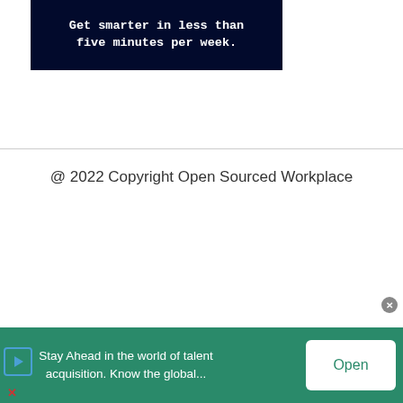[Figure (other): Dark navy banner with white bold monospace text reading 'Get smarter in less than five minutes per week.']
@ 2022 Copyright Open Sourced Workplace
[Figure (other): Gray placeholder ad banner labeled '728x90 Leaderboard']
[Figure (other): Green bottom banner ad with text 'Stay Ahead in the world of talent acquisition. Know the global...' and an Open button. Has a close X button and play/close icons.]